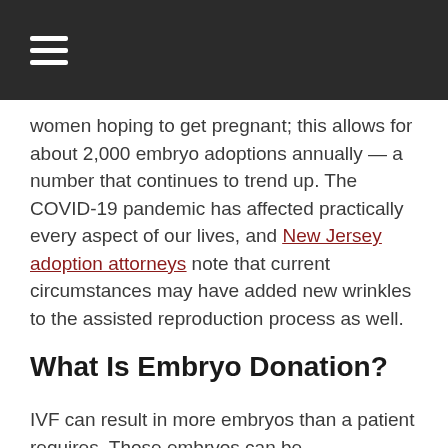≡
women hoping to get pregnant; this allows for about 2,000 embryo adoptions annually — a number that continues to trend up. The COVID-19 pandemic has affected practically every aspect of our lives, and New Jersey adoption attorneys note that current circumstances may have added new wrinkles to the assisted reproduction process as well.
What Is Embryo Donation?
IVF can result in more embryos than a patient requires. Those embryos can be cryopreserved for use at a later time, but there may be no plans to use them at all. In those scenarios, a patient can